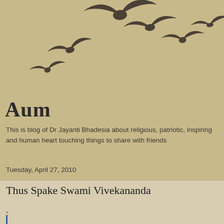[Figure (illustration): Silhouettes of birds in flight arranged in a curved arc pattern against a tan/sandy background]
Aum
This is blog of Dr Jayanti Bhadesia about religious, patriotic, inspiring and human heart touching things to share with friends
Tuesday, April 27, 2010
Thus Spake Swami Vivekananda
-